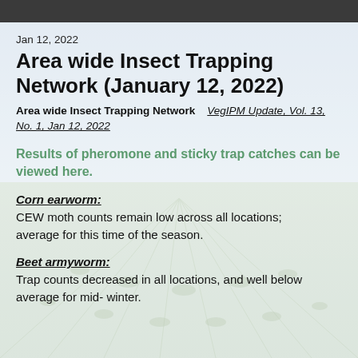Jan 12, 2022
Area wide Insect Trapping Network (January 12, 2022)
Area wide Insect Trapping Network   VegIPM Update, Vol. 13, No. 1, Jan 12, 2022
Results of pheromone and sticky trap catches can be viewed here.
Corn earworm:
CEW moth counts remain low across all locations; average for this time of the season.
Beet armyworm:
Trap counts decreased in all locations, and well below average for mid- winter.